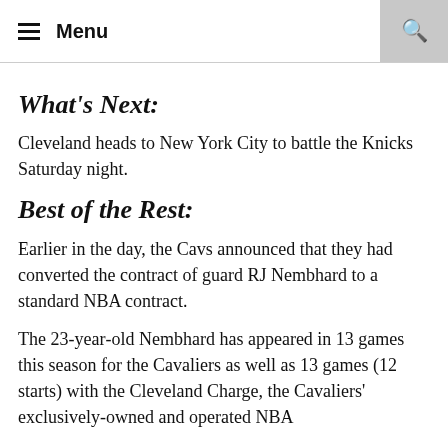Menu
What's Next:
Cleveland heads to New York City to battle the Knicks Saturday night.
Best of the Rest:
Earlier in the day, the Cavs announced that they had converted the contract of guard RJ Nembhard to a standard NBA contract.
The 23-year-old Nembhard has appeared in 13 games this season for the Cavaliers as well as 13 games (12 starts) with the Cleveland Charge, the Cavaliers' exclusively-owned and operated NBA